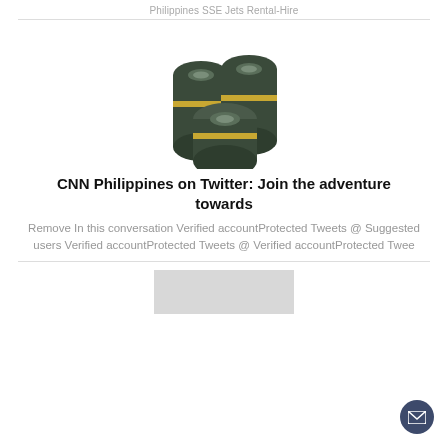Philippines SSE Jets Rental-Hire
[Figure (photo): Three dark green cylindrical rolls with gold bands stacked together]
CNN Philippines on Twitter: Join the adventure towards
Remove In this conversation Verified accountProtected Tweets @ Suggested users Verified accountProtected Tweets @ Verified accountProtected Twee
[Figure (photo): Partial image visible at the bottom of the page, gray/light colored]